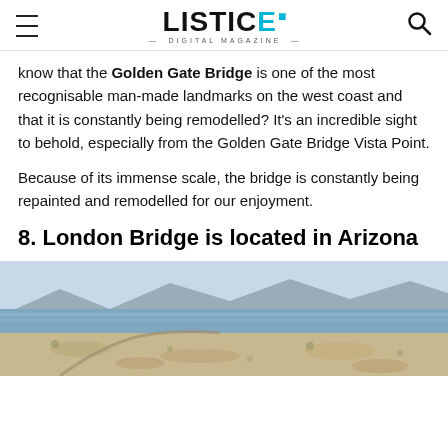LISTICE DIGITAL MAGAZINE
know that the Golden Gate Bridge is one of the most recognisable man-made landmarks on the west coast and that it is constantly being remodelled? It's an incredible sight to behold, especially from the Golden Gate Bridge Vista Point.
Because of its immense scale, the bridge is constantly being repainted and remodelled for our enjoyment.
8. London Bridge is located in Arizona
[Figure (photo): Aerial/landscape photograph of a desert scene with a lake or reservoir and mountains in the background, likely Lake Havasu, Arizona.]